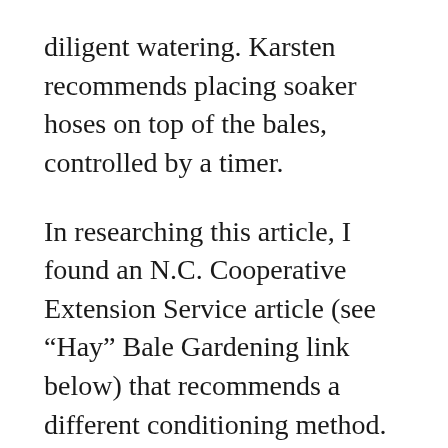diligent watering. Karsten recommends placing soaker hoses on top of the bales, controlled by a timer.
In researching this article, I found an N.C. Cooperative Extension Service article (see “Hay” Bale Gardening link below) that recommends a different conditioning method. It calls for simply watering the bales for three days. On Day 4, you add 2 cups of dolomitic limestone and a half cup of ammonium sulfate, and water it in. On Days 5-9, you add more ammonium sulfate, followed by a cup of 10-10-10 or 8-8-8 on Day 10. Planting commences on Day 11.